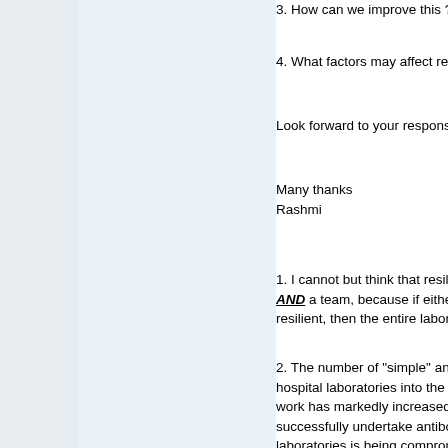3. How can we improve this ?
4. What factors may affect resili...
Look forward to your responses...
Many thanks
Rashmi
1. I cannot but think that resilier... AND a team, because if either a resilient, then the entire laborato...
2. The number of "simple" antib... hospital laboratories into the ref... work has markedly increased, s... successfully undertake antibody... laboratories is being compromis... lack of time, as a knock-on effe... hours, as extended hours are w... as were employed before the in... lack of knowledge on how to pe... (possibly due to having inadequ... antibody identification), or a cor... Certainly, when I have been ma... appears to be a disturbing lack ... theoretical knowledge about blo... techniques, although there has ... knowledge of management and...